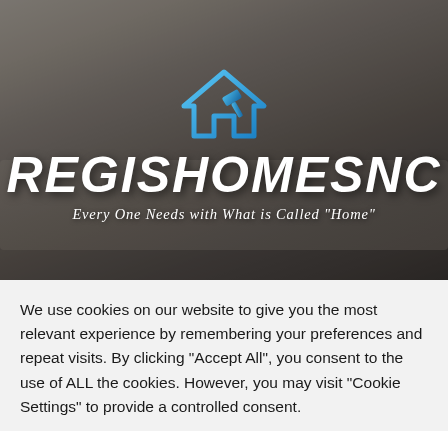[Figure (logo): RegisHomesNC website header with blue house/hammer logo icon, large bold italic white text 'REGISHOMESNC', and tagline 'Every One Needs with What is Called "Home"' over a dimmed living room background photo.]
We use cookies on our website to give you the most relevant experience by remembering your preferences and repeat visits. By clicking "Accept All", you consent to the use of ALL the cookies. However, you may visit "Cookie Settings" to provide a controlled consent.